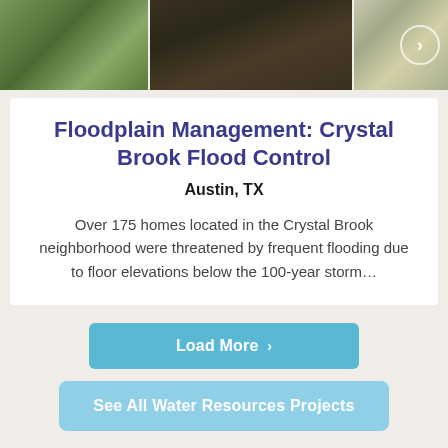[Figure (photo): Photo strip showing three outdoor/nature images: green vegetation on left, dark water/stream in center, light-colored tree trunks/grass on right with a right-arrow navigation button]
Floodplain Management: Crystal Brook Flood Control
Austin, TX
Over 175 homes located in the Crystal Brook neighborhood were threatened by frequent flooding due to floor elevations below the 100-year storm...
Load More >
See All Water Resources Projects